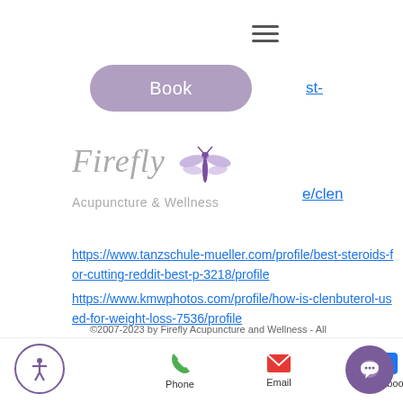[Figure (logo): Hamburger menu icon (three horizontal lines)]
[Figure (illustration): Purple rounded rectangle Book button]
st-
[Figure (logo): Firefly Acupuncture & Wellness logo with stylized dragonfly in purple]
e/clen
https://www.tanzschule-mueller.com/profile/best-steroids-for-cutting-reddit-best-p-3218/profile
https://www.kmwphotos.com/profile/how-is-clenbuterol-used-for-weight-loss-7536/profile
[Figure (illustration): Scroll up button - circle with upward chevron]
©2007-2023 by Firefly Acupuncture and Wellness - All
[Figure (illustration): Accessibility icon - circle with person symbol]
[Figure (illustration): Phone icon (green handset) with label Phone]
[Figure (illustration): Email icon (pink/red envelope) with label Email]
[Figure (illustration): Facebook icon (blue f) with label Facebook]
[Figure (illustration): Chat bubble icon (purple circle with speech bubble)]